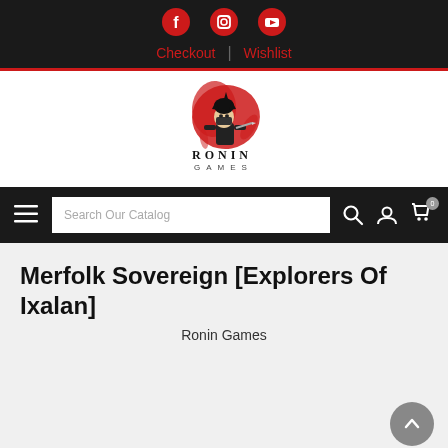Social icons: Facebook, Instagram, YouTube | Checkout | Wishlist
[Figure (logo): Ronin Games logo — anime ninja character with red ink splash above the text RONIN GAMES]
[Figure (screenshot): Navigation search bar with hamburger menu, search input field 'Search Our Catalog', search icon, user icon, and cart icon with badge 0]
Merfolk Sovereign [Explorers Of Ixalan]
Ronin Games